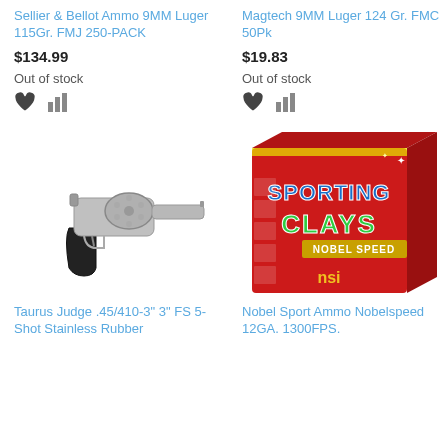Sellier & Bellot Ammo 9MM Luger 115Gr. FMJ 250-PACK
$134.99
Out of stock
Magtech 9MM Luger 124 Gr. FMC 50Pk
$19.83
Out of stock
[Figure (photo): Taurus Judge .45/410-3" 3" FS 5-Shot Stainless Rubber — small silver/stainless revolver with black rubber grip]
[Figure (photo): Nobel Sport Ammo Nobelspeed 12GA. 1300FPS — red box of Sporting Clays shotgun shells with NSI logo]
Taurus Judge .45/410-3" 3" FS 5-Shot Stainless Rubber
Nobel Sport Ammo Nobelspeed 12GA. 1300FPS.